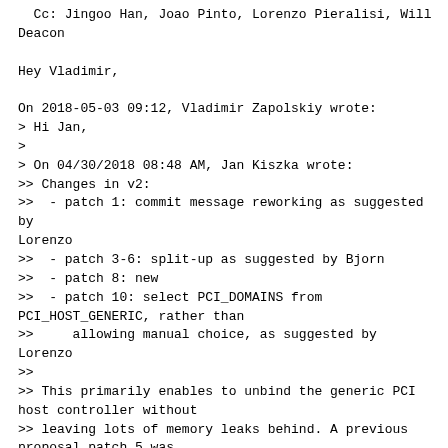Cc: Jingoo Han, Joao Pinto, Lorenzo Pieralisi, Will
Deacon

Hey Vladimir,

On 2018-05-03 09:12, Vladimir Zapolskiy wrote:
> Hi Jan,
>
> On 04/30/2018 08:48 AM, Jan Kiszka wrote:
>> Changes in v2:
>>  - patch 1: commit message reworking as suggested by
Lorenzo
>>  - patch 3-6: split-up as suggested by Bjorn
>>  - patch 8: new
>>  - patch 10: select PCI_DOMAINS from
PCI_HOST_GENERIC, rather than
>>     allowing manual choice, as suggested by Lorenzo
>>
>> This primarily enables to unbind the generic PCI
host controller without
>> leaving lots of memory leaks behind. A previous
proposal patch 5 was
>> rejected because of those issues [1].
>>
>> The fixes have been validated in the Jailhouse
setup, where we add and
>> remove a virtual PCI host controller on hypervisor
activation/
>> deactivation, with the help of kmemleak.
>